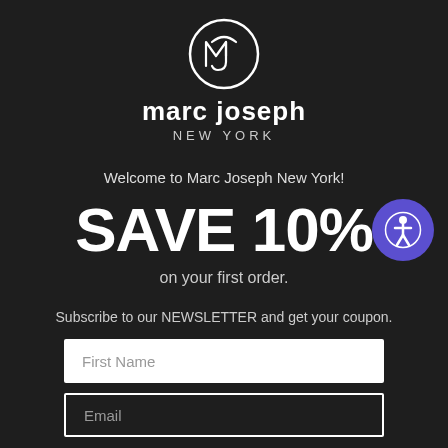[Figure (logo): Marc Joseph New York circular logo with stylized MJ monogram in white on dark background]
marc joseph
NEW YORK
Welcome to Marc Joseph New York!
SAVE 10%
on your first order.
Subscribe to our NEWSLETTER and get your coupon.
First Name
Email